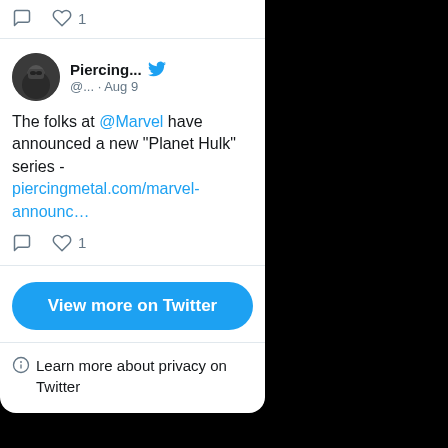[Figure (screenshot): Twitter/social media embed widget showing tweets. Top section shows action icons (comment and heart with count 1). Below is a tweet from 'Piercing...' (@... · Aug 9) with Twitter bird icon, avatar photo of person in sunglasses. Tweet text: 'The folks at @Marvel have announced a new "Planet Hulk" series - piercingmetal.com/marvel-announc...' with comment and heart (1) icons. Below is a blue 'View more on Twitter' button and a privacy notice with info icon reading 'Learn more about privacy on Twitter'.]